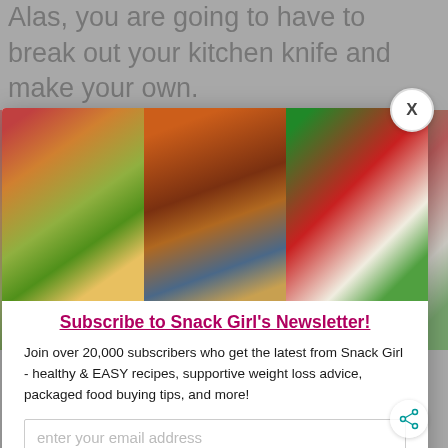Alas, you are going to have to break out your kitchen knife and make your own.
[Figure (photo): Food photography collage: waffle with berries, pot of chili, stuffed pepper]
Green Thing...You Make My Heart Sing
Subscribe to Snack Girl's Newsletter!
Join over 20,000 subscribers who get the latest from Snack Girl - healthy & EASY recipes, supportive weight loss advice, packaged food buying tips, and more!
enter your email address
Subscribe